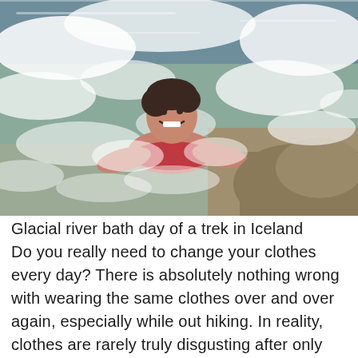[Figure (photo): A smiling woman lying in a rushing glacial river with white water rapids and rocks around her, wearing a red swimsuit or top, photographed outdoors in Iceland.]
Glacial river bath day of a trek in Iceland Do you really need to change your clothes every day? There is absolutely nothing wrong with wearing the same clothes over and over again, especially while out hiking. In reality, clothes are rarely truly disgusting after only one day (or even